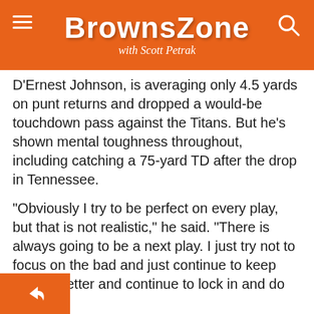BrownsZone with Scott Petrak
D'Ernest Johnson, is averaging only 4.5 yards on punt returns and dropped a would-be touchdown pass against the Titans. But he's shown mental toughness throughout, including catching a 75-yard TD after the drop in Tennessee.
“Obviously I try to be perfect on every play, but that is not realistic,” he said. “There is always going to be a next play. I just try not to focus on the bad and just continue to keep getting better and continue to lock in and do my part.”
Myles Garrett still doing breathing treatments 4 weeks after testing positive for COVID-19, warns people to take it seriously